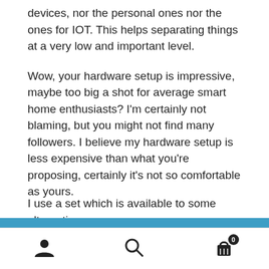devices, nor the personal ones nor the ones for IOT. This helps separating things at a very low and important level.
Wow, your hardware setup is impressive, maybe too big a shot for average smart home enthusiasts? I'm certainly not blaming, but you might not find many followers. I believe my hardware setup is less expensive than what you're proposing, certainly it's not so comfortable as yours.
I use a set which is available to...
Note: All prices are in AUD (Australian Dollars). Dismiss
user icon, search icon, cart icon with badge 0